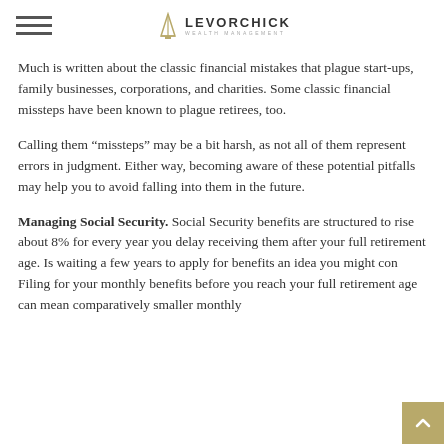LEVORCHICK WEALTH MANAGEMENT
Much is written about the classic financial mistakes that plague start-ups, family businesses, corporations, and charities. Some classic financial missteps have been known to plague retirees, too.
Calling them “missteps” may be a bit harsh, as not all of them represent errors in judgment. Either way, becoming aware of these potential pitfalls may help you to avoid falling into them in the future.
Managing Social Security. Social Security benefits are structured to rise about 8% for every year you delay receiving them after your full retirement age. Is waiting a few years to apply for benefits an idea you might consider? Filing for your monthly benefits before you reach your full retirement age can mean comparatively smaller monthly